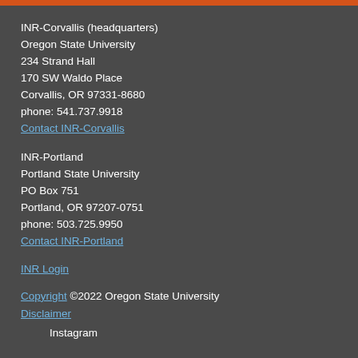INR-Corvallis (headquarters)
Oregon State University
234 Strand Hall
170 SW Waldo Place
Corvallis, OR 97331-8680
phone: 541.737.9918
Contact INR-Corvallis
INR-Portland
Portland State University
PO Box 751
Portland, OR 97207-0751
phone: 503.725.9950
Contact INR-Portland
INR Login
Copyright ©2022 Oregon State University
Disclaimer
Instagram